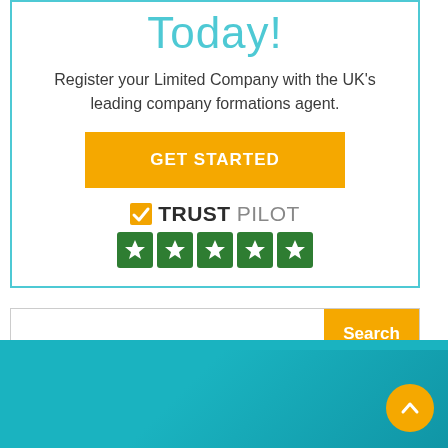Today!
Register your Limited Company with the UK's leading company formations agent.
GET STARTED
[Figure (logo): Trustpilot logo with checkmark and 5 green stars]
Search